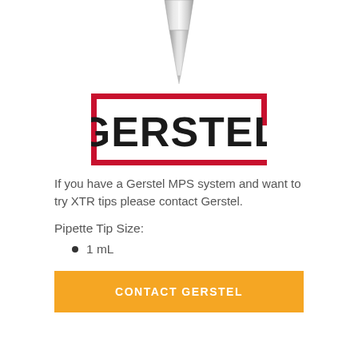[Figure (illustration): Pipette tip pointing downward, silver/gray metallic appearance]
[Figure (logo): GERSTEL logo in bold black text inside a red rectangular border/bracket design]
If you have a Gerstel MPS system and want to try XTR tips please contact Gerstel.
Pipette Tip Size:
1 mL
CONTACT GERSTEL